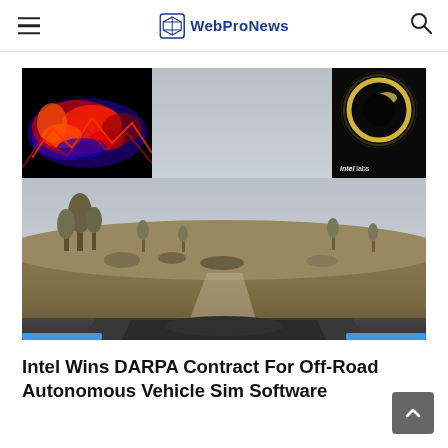WebProNews
[Figure (photo): Composite image: top-left shows infrared/thermal false-color image with red and blue hues; top-center shows a pale gray sky; top-right shows a black image with a bright ring (black hole or eclipse) with 'intel labs' watermark; bottom shows a first-person dashboard view of an autonomous vehicle driving through a desert landscape with Joshua trees and scrubland.]
Intel Wins DARPA Contract For Off-Road Autonomous Vehicle Sim Software